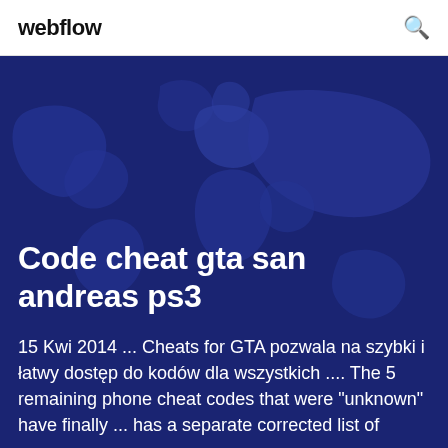webflow
Code cheat gta san andreas ps3
15 Kwi 2014 ... Cheats for GTA pozwala na szybki i łatwy dostęp do kodów dla wszystkich .... The 5 remaining phone cheat codes that were "unknown" have finally ... has a separate corrected list of